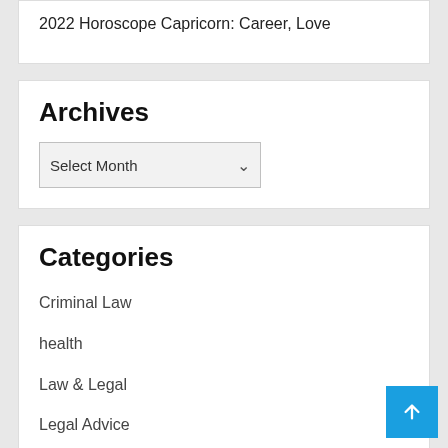2022 Horoscope Capricorn: Career, Love
Archives
Select Month
Categories
Criminal Law
health
Law & Legal
Legal Advice
Legal Assistant
Politic News